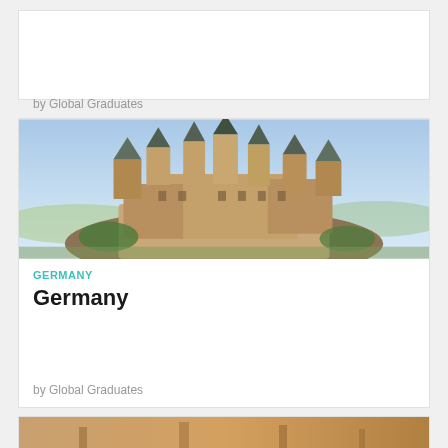by Global Graduates
[Figure (photo): Aerial view of a medieval castle (Hohenzollern Castle) on a hilltop with blue sky and green landscape in the background]
GERMANY
Germany
by Global Graduates
[Figure (photo): Bottom partial image of another location, brown/warm tones visible]